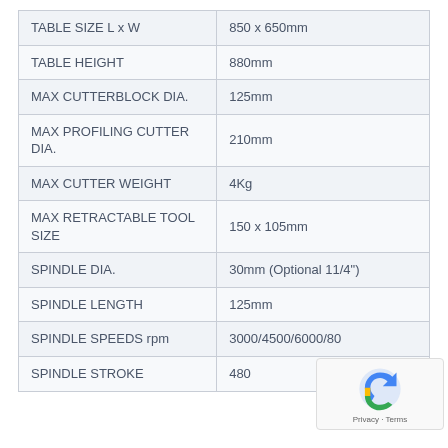| TABLE  SIZE L x W | 850  x 650mm |
| TABLE  HEIGHT | 880mm |
| MAX  CUTTERBLOCK DIA. | 125mm |
| MAX  PROFILING CUTTER DIA. | 210mm |
| MAX  CUTTER WEIGHT | 4Kg |
| MAX  RETRACTABLE TOOL SIZE | 150  x 105mm |
| SPINDLE  DIA. | 30mm  (Optional  11/4") |
| SPINDLE  LENGTH | 125mm |
| SPINDLE  SPEEDS rpm | 3000/4500/6000/80... |
| SPINDLE  STROKE | 480... |